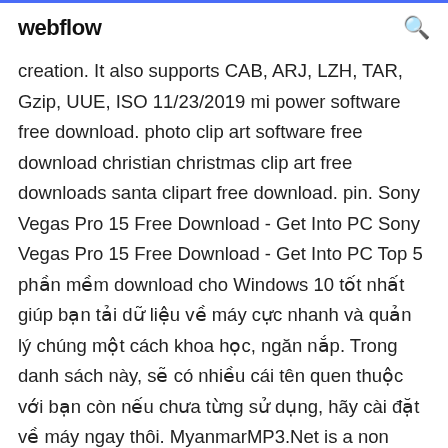webflow  🔍
creation. It also supports CAB, ARJ, LZH, TAR, Gzip, UUE, ISO 11/23/2019 mi power software free download. photo clip art software free download christian christmas clip art free downloads santa clipart free download. pin. Sony Vegas Pro 15 Free Download - Get Into PC Sony Vegas Pro 15 Free Download - Get Into PC Top 5 phần mềm download cho Windows 10 tốt nhất giúp bạn tải dữ liệu về máy cực nhanh và quản lý chúng một cách khoa học, ngăn nắp. Trong danh sách này, sẽ có nhiều cái tên quen thuộc với bạn còn nếu chưa từng sử dụng, hãy cài đặt về máy ngay thôi. MyanmarMP3.Net is a non profit music organization established in 2004 to promote myanmar music and culture